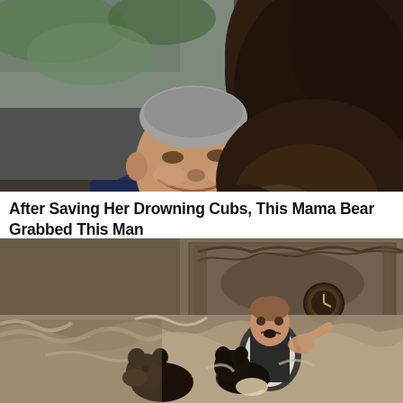[Figure (photo): A smiling middle-aged man with short gray hair being nuzzled or embraced by a large brown bear. The man is wearing a dark blue jacket and appears joyful. Background shows a fence and green foliage.]
After Saving Her Drowning Cubs, This Mama Bear Grabbed This Man
SurelyAwesome
[Figure (photo): Black and white / sepia photo of a woman and bears (appearing to be bear cubs) struggling through rushing floodwaters along an ornate building wall with decorative relief carvings and a clock visible.]